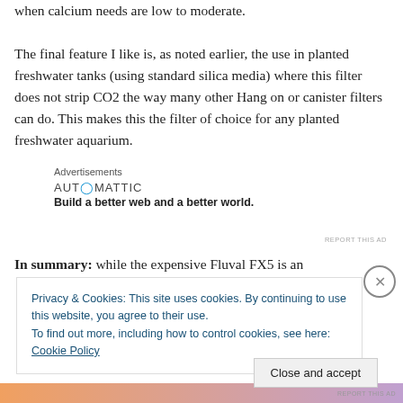when calcium needs are low to moderate.
The final feature I like is, as noted earlier, the use in planted freshwater tanks (using standard silica media) where this filter does not strip CO2 the way many other Hang on or canister filters can do. This makes this the filter of choice for any planted freshwater aquarium.
[Figure (infographic): Automattic advertisement: logo text 'AUTOMATTIC' with tagline 'Build a better web and a better world.']
In summary: while the expensive Fluval FX5 is an
Privacy & Cookies: This site uses cookies. By continuing to use this website, you agree to their use.
To find out more, including how to control cookies, see here: Cookie Policy